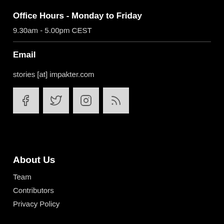Office Hours - Monday to Friday
9.30am - 5.00pm CEST
Email
stories [at] impakter.com
[Figure (other): Social media icons: Facebook, Twitter, Instagram, RSS feed]
About Us
Team
Contributors
Privacy Policy